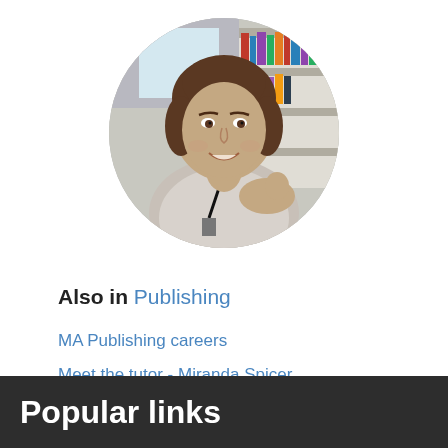[Figure (photo): Circular portrait photo of a woman with short dark hair, smiling, wearing a light shirt and lanyard, with bookshelves visible in the background.]
Also in Publishing
MA Publishing careers
Meet the tutor - Miranda Spicer
Popular links